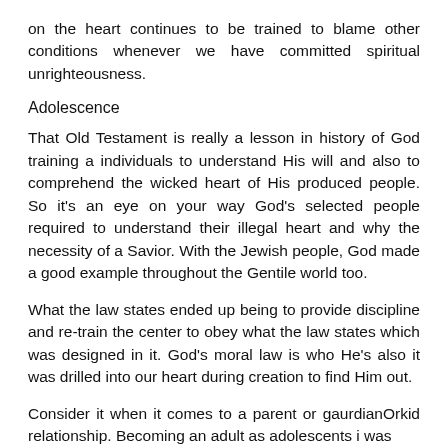on the heart continues to be trained to blame other conditions whenever we have committed spiritual unrighteousness.
Adolescence
That Old Testament is really a lesson in history of God training a individuals to understand His will and also to comprehend the wicked heart of His produced people. So it's an eye on your way God's selected people required to understand their illegal heart and why the necessity of a Savior. With the Jewish people, God made a good example throughout the Gentile world too.
What the law states ended up being to provide discipline and re-train the center to obey what the law states which was designed in it. God's moral law is who He's also it was drilled into our heart during creation to find Him out.
Consider it when it comes to a parent or gaurdianOrkid relationship. Becoming an adult as adolescents i was